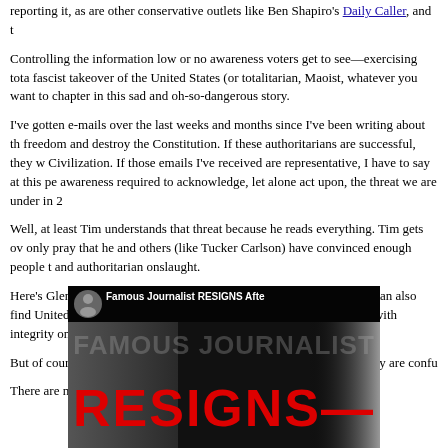reporting it, as are other conservative outlets like Ben Shapiro's Daily Caller, and t
Controlling the information low or no awareness voters get to see—exercising tota fascist takeover of the United States (or totalitarian, Maoist, whatever you want to chapter in this sad and oh-so-dangerous story.
I've gotten e-mails over the last weeks and months since I've been writing about th freedom and destroy the Constitution. If these authoritarians are successful, they w Civilization. If those emails I've received are representative, I have to say at this pe awareness required to acknowledge, let alone act upon, the threat we are under in 2
Well, at least Tim understands that threat because he reads everything. Tim gets ov only pray that he and others (like Tucker Carlson) have convinced enough people t and authoritarian onslaught.
Here's Glenn's resignation letter, which he published at substack. You can also find United States that you can count the number of actual journalists with integrity on other "journalists" are really pro-censorship activists.
But of course most people (sheeple) are confused about this, just as they are confu
There are now only 5 days until the election. Here's Tim.
[Figure (screenshot): Video thumbnail showing 'Famous Journalist RESIGNS After...' with large red 'RESIGNS' text on dark background with a person silhouette on the left side]